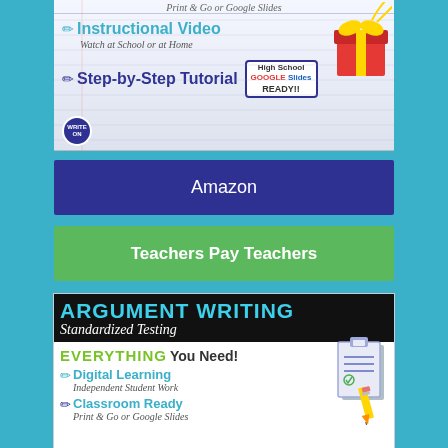[Figure (illustration): Educational product banner showing Instructional Video, Watch at School or at Home, Step-by-Step Tutorial, High School Google Slides Ready labels with gift box graphic]
Amazon
Teachers Pay Teachers
[Figure (illustration): Argument Writing Standardized Testing product banner with EVERYTHING You Need!, Digital Learning Independent Student Work, Classroom Ready Print & Go or Google Slides text and clipboard/pencil graphic]